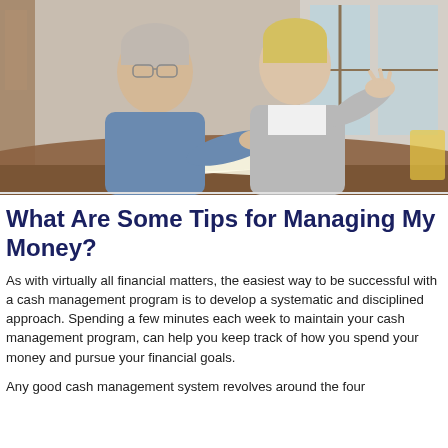[Figure (photo): Older couple sitting at a table reviewing financial documents together, man pointing at papers, woman gesturing with hand]
What Are Some Tips for Managing My Money?
As with virtually all financial matters, the easiest way to be successful with a cash management program is to develop a systematic and disciplined approach. Spending a few minutes each week to maintain your cash management program, can help you keep track of how you spend your money and pursue your financial goals.
Any good cash management system revolves around the four